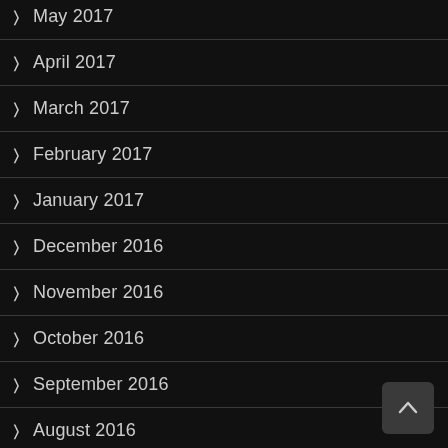May 2017
April 2017
March 2017
February 2017
January 2017
December 2016
November 2016
October 2016
September 2016
August 2016
July 2016